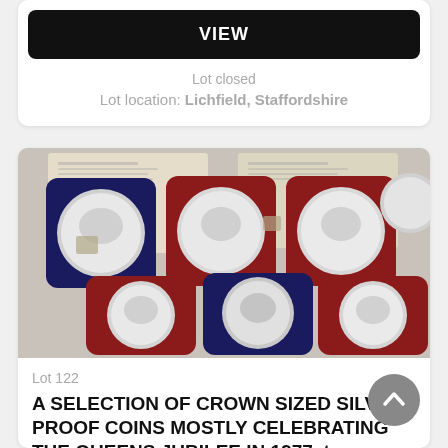VIEW
Lot closed
Lot location: Lichfield, Staffordshire
[Figure (photo): Six silver proof coins in presentation boxes (red and navy velvet), with certificate papers, displayed on a light background. Coins appear to be crown-sized commemorative pieces.]
Lot 122
A SELECTION OF CROWN SIZED SILVER PROOF COINS MOSTLY CELEBRATING THE QUEENS JUBILEE IN 1977, to
120 GBP